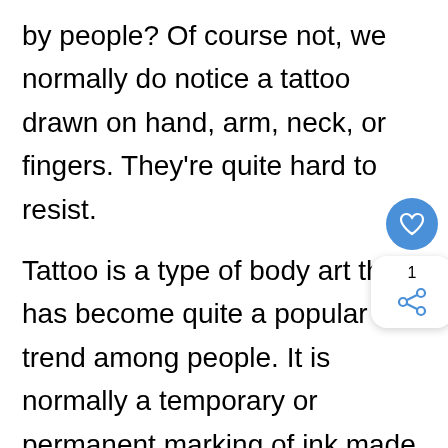by people? Of course not, we normally do notice a tattoo drawn on hand, arm, neck, or fingers. They're quite hard to resist.

Tattoo is a type of body art that has become quite a popular trend among people. It is normally a temporary or permanent marking of ink made on the sk with the help of needles. These markings may vary from words to designs, whatev you want.
[Figure (other): UI overlay with a blue heart/like button and a share button panel showing count of 1]